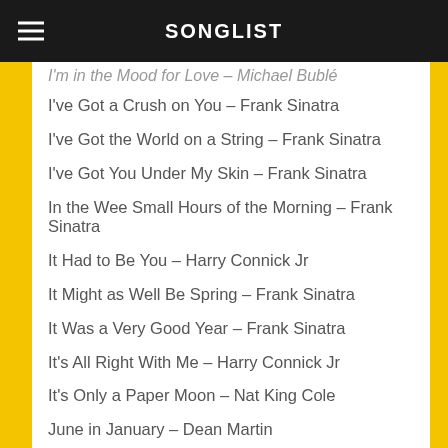SONGLIST
I'm in the Mood for Love – Michael Bublé
I've Got a Crush on You – Frank Sinatra
I've Got the World on a String – Frank Sinatra
I've Got You Under My Skin – Frank Sinatra
In the Wee Small Hours of the Morning – Frank Sinatra
It Had to Be You – Harry Connick Jr
It Might as Well Be Spring – Frank Sinatra
It Was a Very Good Year – Frank Sinatra
It's All Right With Me – Harry Connick Jr
It's Only a Paper Moon – Nat King Cole
June in January – Dean Martin
Just One of Those Things – Frank Sinatra
Just the Way You Are – Frank Sinatra
Lady Is a Tramp – Frank Sinatra
Let's Face the Music and Dance – Frank Sinatra
Let's Fall in Love – Harry Connick Jr
L-O-V-E – Nat King Cole
Love and Marriage – Frank Sinatra
Love is Here to Stay – Harry Connick Jr